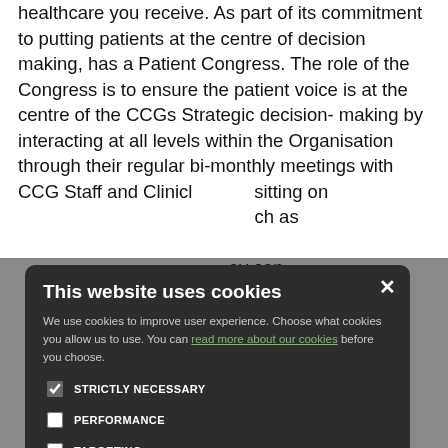healthcare you receive. As part of its commitment to putting patients at the centre of decision making, has a Patient Congress. The role of the Congress is to ensure the patient voice is at the centre of the CCGs Strategic decision- making by interacting at all levels within the Organisation through their regular bi-monthly meetings with CCG Staff and Clinical ... sitting on ... such as ... they can ... essary skills to ... vel, and are ... iew process ... ty members ... es in our ... s in the South ... for a South ... atient ... ality, who feels ... le to give the
[Figure (screenshot): Cookie consent modal dialog overlay on a webpage. Dark background modal with title 'This website uses cookies', body text about cookie usage with a link 'read more about our cookies', checkboxes for STRICTLY NECESSARY (checked), PERFORMANCE (unchecked), TARGETING (unchecked), FUNCTIONALITY (unchecked), and two buttons: ACCEPT ALL (green) and DECLINE ALL (outlined).]